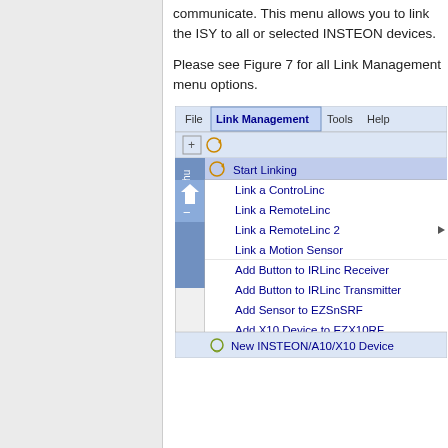communicate. This menu allows you to link the ISY to all or selected INSTEON devices.
Please see Figure 7 for all Link Management menu options.
[Figure (screenshot): Screenshot of ISY software showing the Link Management menu expanded with options: Start Linking, Link a ControLinc, Link a RemoteLinc, Link a RemoteLinc 2 (with submenu arrow), Link a Motion Sensor, Add Button to IRLinc Receiver, Add Button to IRLinc Transmitter, Add Sensor to EZSnSRF, Add X10 Device to EZX10RF, Advanced Options, New INSTEON/A10/X10 Device. Menu bar shows File, Link Management (active), Tools, Help.]